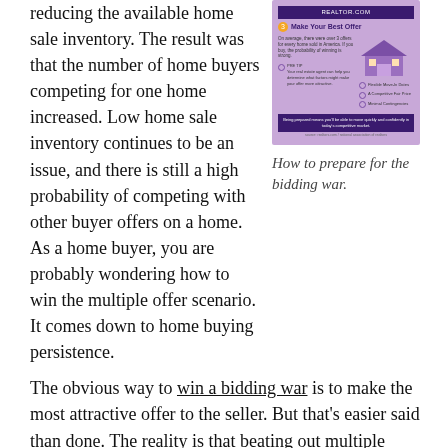reducing the available home sale inventory.  The result was that the number of home buyers competing for one home increased. Low home sale inventory continues to be an issue, and there is still a high probability of competing with other buyer offers on a home.  As a home buyer, you are probably wondering how to win the multiple offer scenario. It comes down to home buying persistence.
[Figure (infographic): An infographic titled 'Make Your Best Offer' on a purple background showing steps for preparing for a bidding war, with a house illustration and checklist items.]
How to prepare for the bidding war.
The obvious way to win a bidding war is to make the most attractive offer to the seller.  But that's easier said than done.  The reality is that beating out multiple home buyer offers means you need to be organized, and go in with your best offer.  And if you lose out on the home, don't give up.